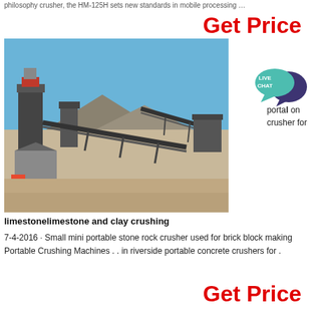philosophy crusher, the HM-125H sets new standards in mobile processing …
Get Price
[Figure (photo): Outdoor industrial crushing plant with conveyors and crushers on a dry sandy site against a blue sky.]
limestonelimestone and clay crushing
7-4-2016 · Small mini portable stone rock crusher used for brick block making Portable Crushing Machines . . in riverside portable concrete crushers for .
Get Price